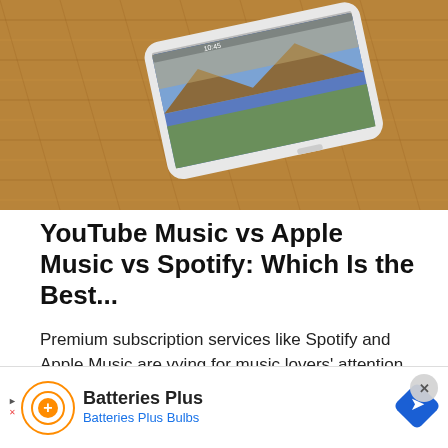[Figure (photo): A white smartphone lying on a wicker/rattan surface with a colorful landscape wallpaper visible on screen. A watermark reads 'GUIDING TECH' in the bottom right corner.]
YouTube Music vs Apple Music vs Spotify: Which Is the Best...
Premium subscription services like Spotify and Apple Music are vying for music lovers' attention. So Google decided to try its luck with a new music...
[Figure (photo): A young girl with red/blonde hair and glasses looking down, with a large Apple logo overlaid in the lower left. Background is a bright interior.]
[Figure (other): Advertisement banner for Batteries Plus / Batteries Plus Bulbs with orange and blue branding, a circular logo with a plus sign, and a blue diamond-shaped directional icon.]